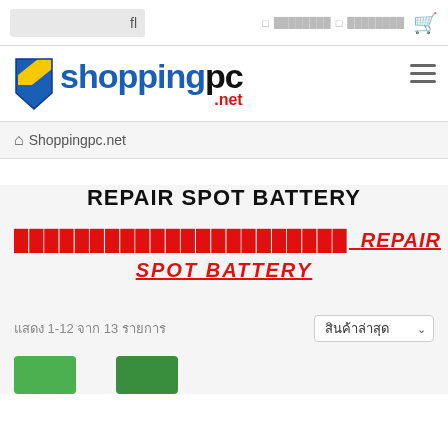🔍  ⊡ ████████████  ⊡ ████████████  🛒
[Figure (logo): shoppingpc.net logo with stylized blue and yellow S graphic and blue/black text, .net in red]
⌂ Shoppingpc.net
REPAIR SPOT BATTERY
████████████████████████  REPAIR SPOT BATTERY
แสดง 1-12 จาก 13 รายการ
สินค้าล่าสุด